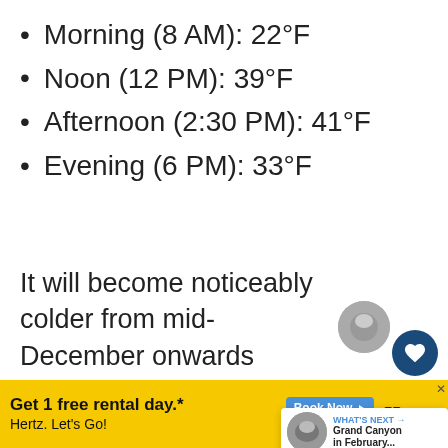Morning  (8 AM): 22°F
Noon (12 PM): 39°F
Afternoon (2:30 PM): 41°F
Evening (6 PM): 33°F
It will become noticeably colder from mid-December onwards (usually around December 11).  Besides coo' temps, and more snow, you'll fi... days are shorter near the end of this month, with the shortest day being
[Figure (screenshot): Heart/favourite button overlay (dark blue circle with white heart icon)]
[Figure (screenshot): Share button overlay with plus icon]
[Figure (screenshot): What's Next promotional card showing Grand Canyon in February thumbnail]
[Figure (screenshot): Hertz advertisement banner: Get 1 free rental day. Hertz. Let's Go! Book Now.]